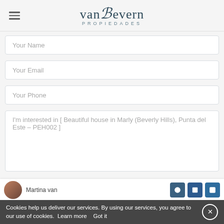[Figure (logo): van Bevern Propiedades logo with decorative cursive B and sans-serif text PROPIEDADES below]
Your Name
Your Email
Your Phone
I'm interested in [ Beautiful house in Marly (Beverly Hills), Punta del Este – PEH002 ]
Martina van
Cookies help us deliver our services. By using our services, you agree to our use of cookies.  Learn more   Got it